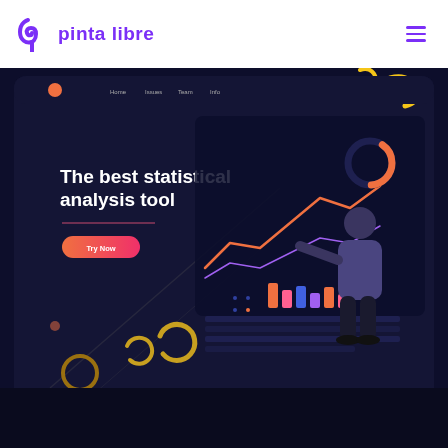pinta libre
[Figure (screenshot): Screenshot of the Pinta Libre website showing a dark-themed hero section with text 'The best statistical analysis tool', a 'Try Now' button, and an illustration of a person interacting with a data dashboard. The background is dark navy with decorative geometric shapes and a large analytics dashboard UI in the center-right. Below the screenshot the page continues with a very dark navy background.]